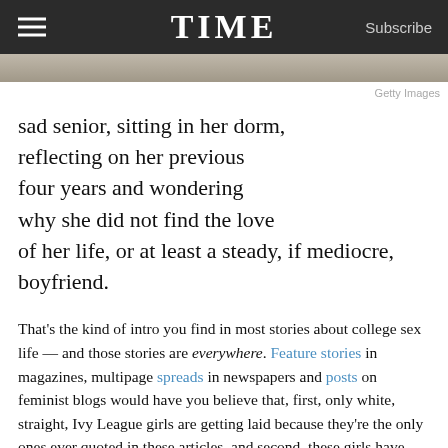TIME  Subscribe
sad senior, sitting in her dorm, reflecting on her previous four years and wondering why she did not find the love of her life, or at least a steady, if mediocre, boyfriend.
Getty Images
That's the kind of intro you find in most stories about college sex life — and those stories are everywhere. Feature stories in magazines, multipage spreads in newspapers and posts on feminist blogs would have you believe that, first, only white, straight, Ivy League girls are getting laid because they're the only ones ever quoted in these articles, and second, these girls have replaced relationships with casual sex … and it's an epidemic.
I'm straight, white and female and have just graduated from an Ivy